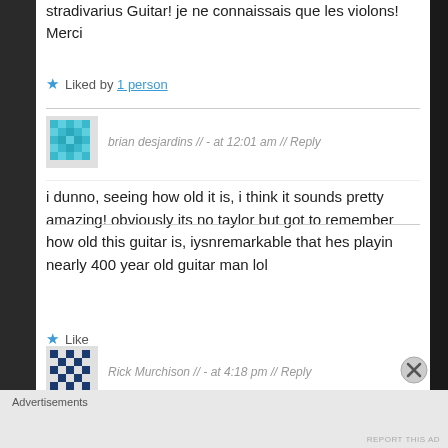stradivarius Guitar! je ne connaissais que les violons! Merci
★ Liked by 1 person
brian desjardins // - at 12:01 am // Reply
i dunno, seeing how old it is, i think it sounds pretty amazing! obviously its no taylor but got to remember how old this guitar is, iysnremarkable that hes playin nearly 400 year old guitar man lol
★ Like
Rick Murchison // - at 4:18 pm // Reply
Advertisements